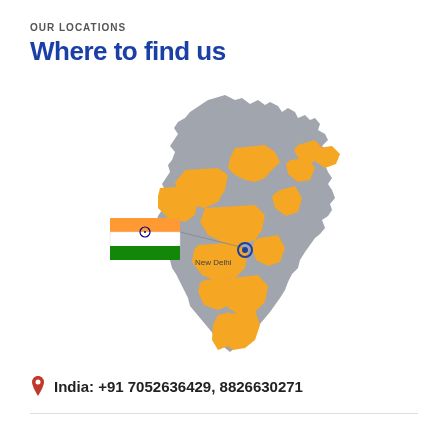OUR LOCATIONS
Where to find us
[Figure (map): Map of India with certain states highlighted in orange/yellow, a small Indian flag inset, and a marker on New Delhi labeled 'New Delhi'.]
India: +91 7052636429, 8826630271